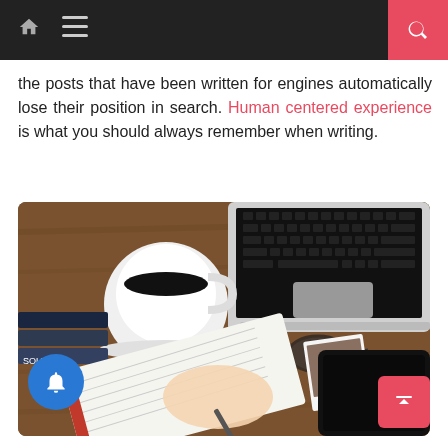Navigation bar with home, menu, and search icons
the posts that have been written for engines automatically lose their position in search. Human centered experience is what you should always remember when writing.
[Figure (photo): Top-down view of a wooden desk with a laptop, a cup of black coffee, a notebook with a hand writing in it, eyeglasses, Polaroid photos, a tablet/iPad, and a stack of books. A blue notification bell button is visible in the lower left and a pink back-to-top arrow button in the lower right.]